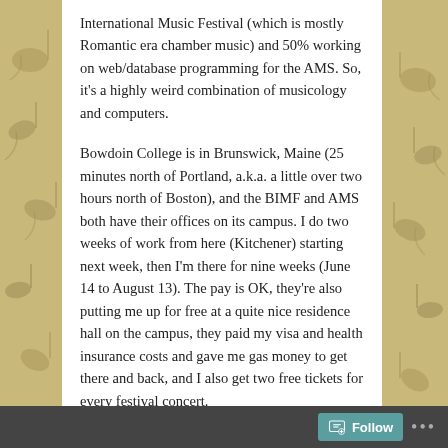International Music Festival (which is mostly Romantic era chamber music) and 50% working on web/database programming for the AMS. So, it's a highly weird combination of musicology and computers.
Bowdoin College is in Brunswick, Maine (25 minutes north of Portland, a.k.a. a little over two hours north of Boston), and the BIMF and AMS both have their offices on its campus. I do two weeks of work from here (Kitchener) starting next week, then I'm there for nine weeks (June 14 to August 13). The pay is OK, they're also putting me up for free at a quite nice residence hall on the campus, they paid my visa and health insurance costs and gave me gas money to get there and back, and I also get two free tickets for every festival concert.
SHARE THIS:
[Figure (other): Social share buttons: Facebook, Twitter, LinkedIn, Email]
Follow ···